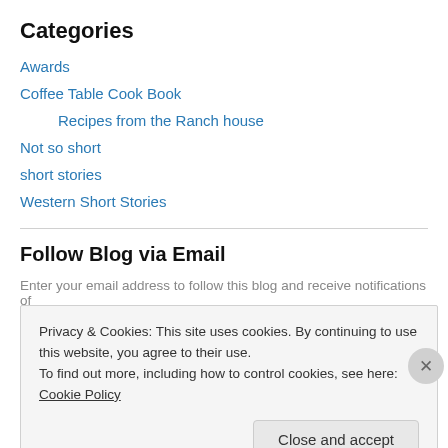Categories
Awards
Coffee Table Cook Book
Recipes from the Ranch house
Not so short
short stories
Western Short Stories
Follow Blog via Email
Enter your email address to follow this blog and receive notifications of
Privacy & Cookies: This site uses cookies. By continuing to use this website, you agree to their use.
To find out more, including how to control cookies, see here: Cookie Policy